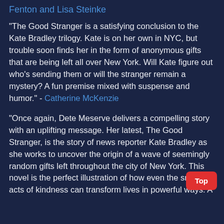Fenton and Lisa Steinke
"The Good Stranger is a satisfying conclusion to the Kate Bradley trilogy. Kate is on her own in NYC, but trouble soon finds her in the form of anonymous gifts that are being left all over New York. Will Kate figure out who’s sending them or will the stranger remain a mystery? A fun premise mixed with suspense and humor." - Catherine McKenzie
"Once again, Dete Meserve delivers a compelling story with an uplifting message. Her latest, The Good Stranger, is the story of news reporter Kate Bradley as she works to uncover the origin of a wave of seemingly random gifts left throughout the city of New York. This novel is the perfect illustration of how even the smallest acts of kindness can transform lives in powerful ways. A